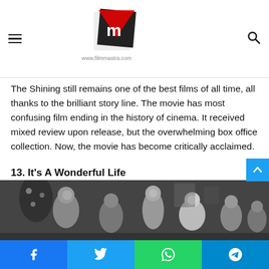FilmMastra logo, hamburger menu, search icon
The Shining still remains one of the best films of all time, all thanks to the brilliant story line. The movie has most confusing film ending in the history of cinema. It received mixed review upon release, but the overwhelming box office collection. Now, the movie has become critically acclaimed.
13. It's A Wonderful Life
[Figure (photo): Black and white scene from 'It's A Wonderful Life' showing several people gathered around a Christmas tree, smiling and talking.]
Social share buttons: Facebook, Twitter, WhatsApp, Telegram